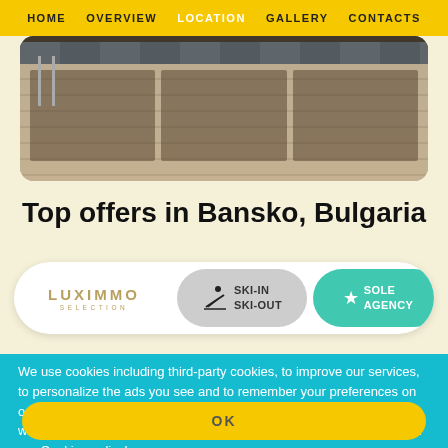HOME  OVERVIEW  LOCATION  GALLERY  CONTACTS
[Figure (photo): Exterior photo of a multi-storey building/apartment complex in Bansko, Bulgaria, with flags visible]
Top offers in Bansko, Bulgaria
[Figure (infographic): Card row showing: LUXIMMO SELECTION logo, SKI-IN SKI-OUT badge with skier icon, SOLE AGENCY badge (teal), heart/favorite icon]
We use cookies including third-party cookies, to improve our services, to personalize the ads you see and to remember your preferences on our website. You consent to our cookies if you continue to use our website. For further information (e.g. how to disable your cookies) visit our Cookies policy!
OK